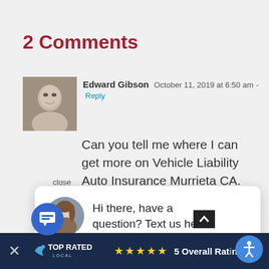2 Comments
Edward Gibson  October 11, 2019 at 6:50 am - Reply
Can you tell me where I can get more on Vehicle Liability Auto Insurance Murrieta CA. Too bad more people don't think that …more information…p.
close
[Figure (screenshot): Chat popup widget with female avatar, text: Hi there, have a question? Text us here.]
Hi there, have a question? Text us here.
r 14, 2019 at 6:45
I'm glad you picked up on that part,
[Figure (screenshot): Top Rated Local banner with stars, 5 Overall Rating and accessibility button]